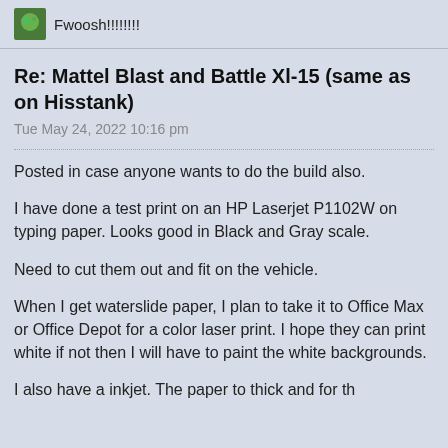Fwoosh!!!!!!!!
Re: Mattel Blast and Battle Xl-15 (same as on Hisstank)
Tue May 24, 2022 10:16 pm
Posted in case anyone wants to do the build also.
I have done a test print on an HP Laserjet P1102W on typing paper. Looks good in Black and Gray scale.
Need to cut them out and fit on the vehicle.
When I get waterslide paper, I plan to take it to Office Max or Office Depot for a color laser print. I hope they can print white if not then I will have to paint the white backgrounds.
I also have a inkjet. The paper to thick and for th...